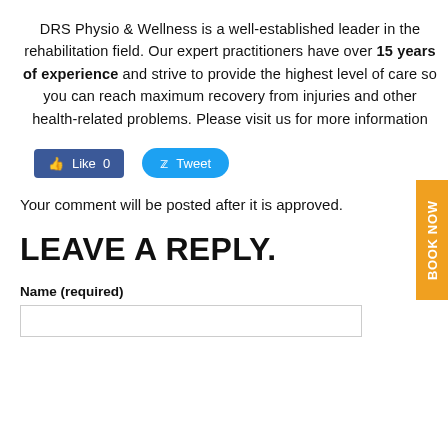DRS Physio & Wellness is a well-established leader in the rehabilitation field. Our expert practitioners have over 15 years of experience and strive to provide the highest level of care so you can reach maximum recovery from injuries and other health-related problems. Please visit us for more information
[Figure (screenshot): Facebook Like button showing 0 likes and Twitter Tweet button]
Your comment will be posted after it is approved.
LEAVE A REPLY.
Name (required)